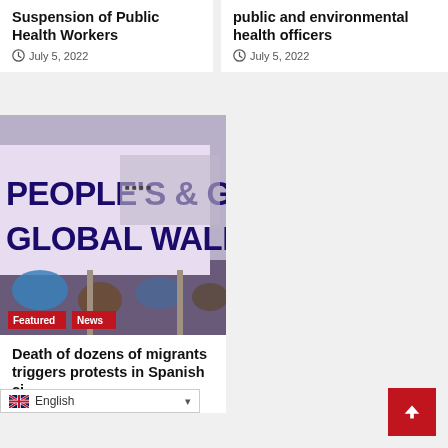Suspension of Public Health Workers
July 5, 2022
public and environmental health officers
July 5, 2022
[Figure (photo): Protest photo showing demonstrators holding a sign reading 'PEOPLE'S & GOODS, GLOBAL WALLS, NO!' with tags 'Featured' and 'News']
Death of dozens of migrants triggers protests in Spanish ci...
English